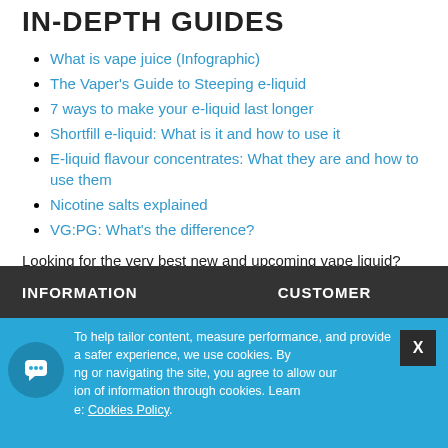IN-DEPTH GUIDES
What is vape juice (Infographic)
The Vaper's Guide to Steeping e-liquid
7 ways to make your e-liquid last longer
Shortfill e-liquid: What is it and how to use it
E-liquid flavour concentrates: What they are and how to use them
Nicotine salts explained
VG:PG: What's the difference?
Looking for the very best new and upcoming vape liquid? Make sure to check out our vapes coming soon category!
INFORMATION    CUSTOMER
To help tailor content, measure performance, and provide a safer experience, we use cookies. By ng or navigating the site, you agree to allow our ion of information through cookies. Learn e: Cookies Policy.